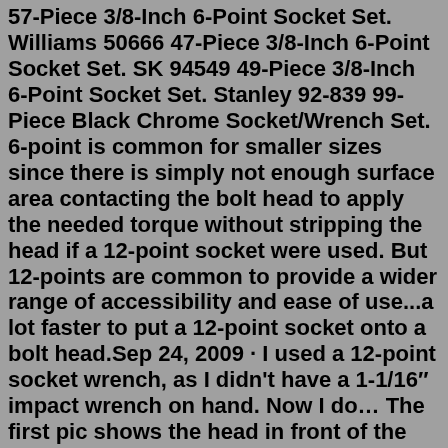57-Piece 3/8-Inch 6-Point Socket Set. Williams 50666 47-Piece 3/8-Inch 6-Point Socket Set. SK 94549 49-Piece 3/8-Inch 6-Point Socket Set. Stanley 92-839 99-Piece Black Chrome Socket/Wrench Set. 6-point is common for smaller sizes since there is simply not enough surface area contacting the bolt head to apply the needed torque without stripping the head if a 12-point socket were used. But 12-points are common to provide a wider range of accessibility and ease of use...a lot faster to put a 12-point socket onto a bolt head.Sep 24, 2009 · I used a 12-point socket wrench, as I didn't have a 1-1/16″ impact wrench on hand. Now I do… The first pic shows the head in front of the two sockets; the 6-point socket on the right will do a much better job of not ruining the anode rod bolt head because it grips along the entire length of all six sides. Here I am going over the differences, pros and cons of 6 point and 12 point sockets.NEW Amazon Links to Suggested Tools and Car Parts:Tools - https://amzn.to...Here I am going over the differences, pros and cons of 6 point and 12 point sockets.NEW